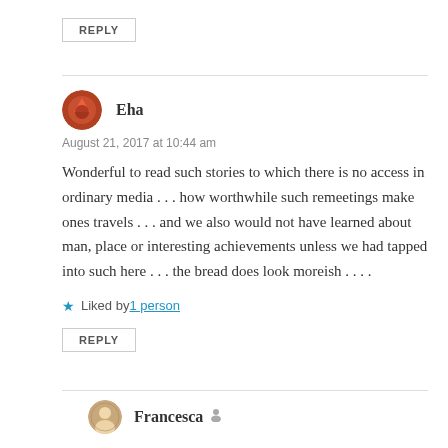REPLY
Eha
August 21, 2017 at 10:44 am
Wonderful to read such stories to which there is no access in ordinary media . . . how worthwhile such remeetings make ones travels . . . and we also would not have learned about man, place or interesting achievements unless we had tapped into such here . . . the bread does look moreish . . . .
Liked by 1 person
REPLY
Francesca